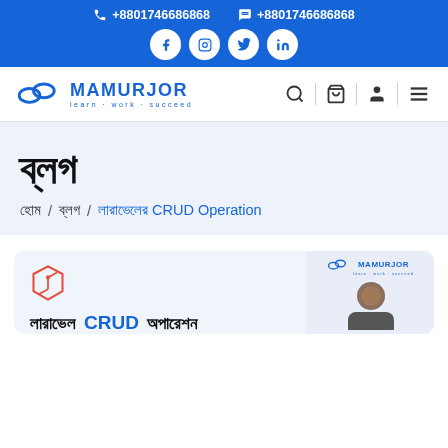+8801746686868  +8801746686868
[Figure (logo): Mamurjor logo with tagline learn work succeed and navigation icons]
ব্লগ
হোম / ব্লগ / লারাভেলের CRUD Operation
[Figure (illustration): Laravel CRUD Operation blog card with Laravel logo icon, card title লারাভেল CRUD অপারেশন, and Mamurjor logo with person photo on right]